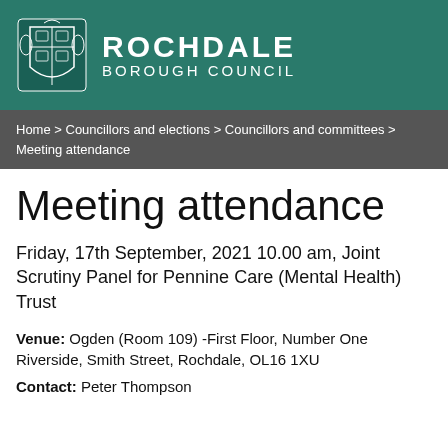[Figure (logo): Rochdale Borough Council logo with coat of arms and white text on teal background]
Home > Councillors and elections > Councillors and committees > Meeting attendance
Meeting attendance
Friday, 17th September, 2021 10.00 am, Joint Scrutiny Panel for Pennine Care (Mental Health) Trust
Venue:   Ogden (Room 109) -First Floor, Number One Riverside, Smith Street, Rochdale, OL16 1XU
Contact:    Peter Thompson